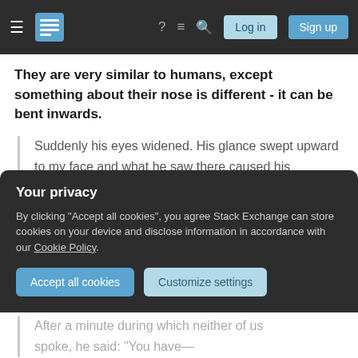Stack Exchange navigation bar with hamburger menu, logo, help, chat, search icons, Log in and Sign up buttons
They are very similar to humans, except something about their nose is different - it can be bent inwards.
Suddenly his eyes widened. His glance swept upward to my face and what he saw there caused his expression to change to one of mingled dismay and astonishment. There was but one move he could make. When he made it his entire left flank would be exposed. He had lost the game.
Your privacy
By clicking "Accept all cookies", you agree Stack Exchange can store cookies on your device and disclose information in accordance with our Cookie Policy.
After a minute during which neither of us spoke, he said: "You have—" (cut off)